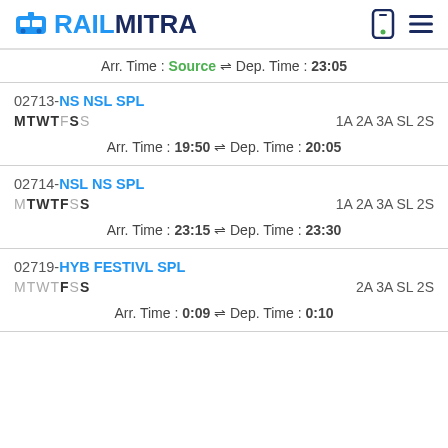RAILMITRA
Arr. Time : Source ⇌ Dep. Time : 23:05
02713-NS NSL SPL
MTWTFSS	1A 2A 3A SL 2S
Arr. Time : 19:50 ⇌ Dep. Time : 20:05
02714-NSL NS SPL
MTWTFSS	1A 2A 3A SL 2S
Arr. Time : 23:15 ⇌ Dep. Time : 23:30
02719-HYB FESTIVL SPL
MTWTFSS	2A 3A SL 2S
Arr. Time : 0:09 ⇌ Dep. Time : 0:10